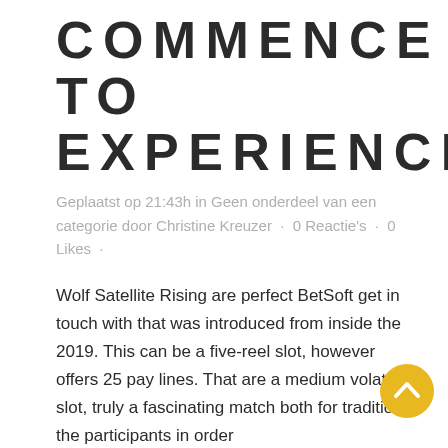COMMENCE TO EXPERIENCE!
Geplaatst op 21:43h in Geen onderdeel van een categorie door Christine Kreuzer · 0 Reactie's · 0 Likes ·
Wolf Satellite Rising are perfect BetSoft get in touch with that was introduced from inside the 2019. This can be a five-reel slot, however offers 25 pay lines. That are a medium volatility slot, truly a fascinating match both for traditional the participants in order
[Figure (illustration): Yellow circular scroll-to-top button with white chevron arrow pointing upward]